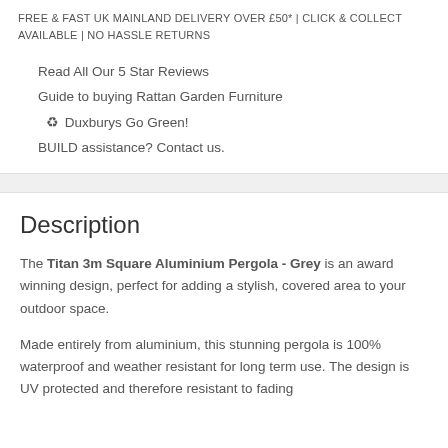FREE & FAST UK MAINLAND DELIVERY OVER £50* | CLICK & COLLECT AVAILABLE | NO HASSLE RETURNS
Read All Our 5 Star Reviews
Guide to buying Rattan Garden Furniture
♻ Duxburys Go Green!
BUILD assistance? Contact us.
Description
The Titan 3m Square Aluminium Pergola - Grey is an award winning design, perfect for adding a stylish, covered area to your outdoor space.
Made entirely from aluminium, this stunning pergola is 100% waterproof and weather resistant for long term use. The design is UV protected and therefore resistant to fading